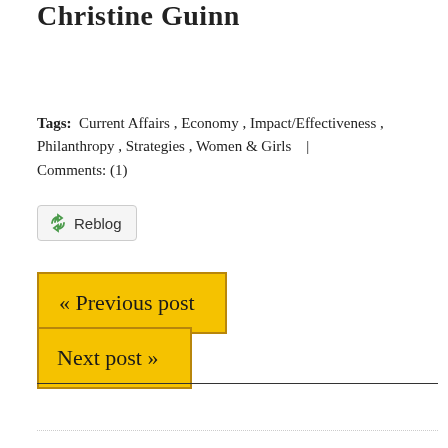Christine Guinn
Tags:  Current Affairs , Economy , Impact/Effectiveness , Philanthropy , Strategies , Women & Girls   |  Comments: (1)
[Figure (other): Reblog button with green recycling arrows icon and text 'Reblog']
« Previous post
Next post »